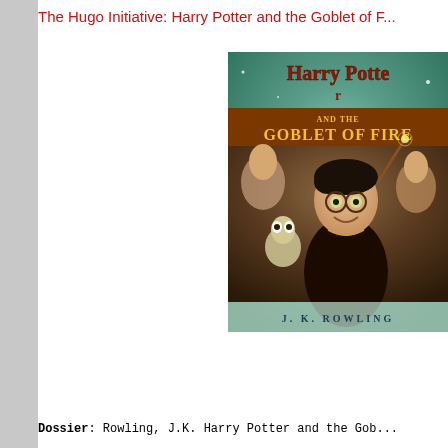The Hugo Initiative: Harry Potter and the Goblet of F...
[Figure (photo): Book cover of Harry Potter and the Goblet of Fire by J.K. Rowling, showing Harry Potter with glasses pointing a wand, surrounded by other characters, with a teal/green magical background]
Dossier: Rowling, J.K. Harry Potter and the Gob...